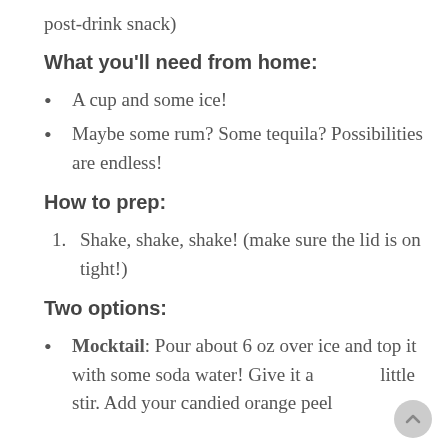post-drink snack)
What you'll need from home:
A cup and some ice!
Maybe some rum? Some tequila? Possibilities are endless!
How to prep:
1. Shake, shake, shake! (make sure the lid is on tight!)
Two options:
Mocktail: Pour about 6 oz over ice and top it with some soda water! Give it a little stir. Add your candied orange peel